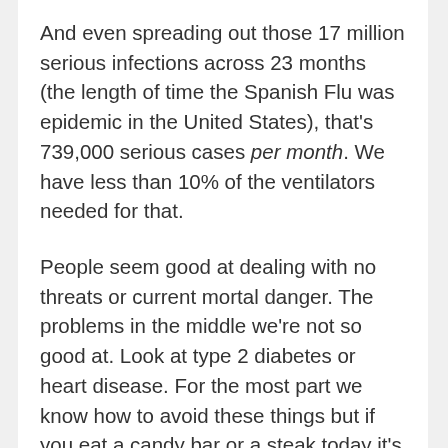And even spreading out those 17 million serious infections across 23 months (the length of time the Spanish Flu was epidemic in the United States), that's 739,000 serious cases per month. We have less than 10% of the ventilators needed for that.
People seem good at dealing with no threats or current mortal danger. The problems in the middle we're not so good at. Look at type 2 diabetes or heart disease. For the most part we know how to avoid these things but if you eat a candy bar or a steak today it's not like a guy shows up to your house with a gun to shoot you: the threat is too far away for it to seem real so